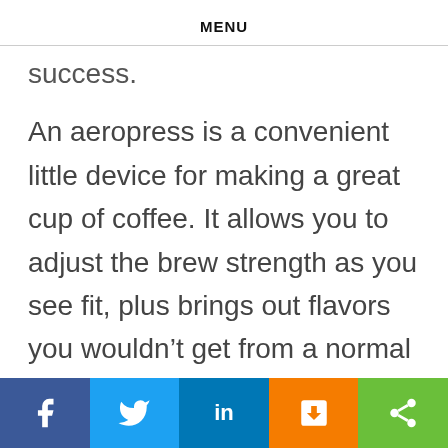MENU
success.
An aeropress is a convenient little device for making a great cup of coffee. It allows you to adjust the brew strength as you see fit, plus brings out flavors you wouldn’t get from a normal drip coffee machine. Of course, to get the most out of your aeropress, you must start with the right coffee. Our top choice is the lavazza super crema whole bean coffee blend. This medium roast mix of arabica and robusta beans has a mild, creamy taste with rich flavor notes of honey, almonds, and dried fruit. It also create